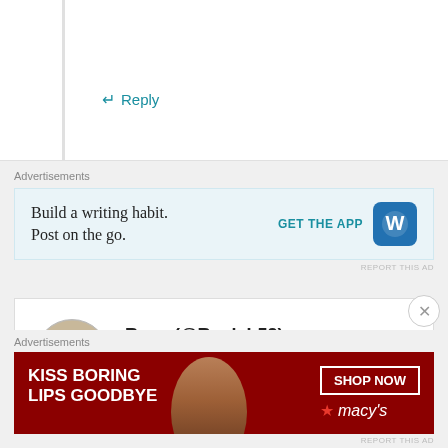↵ Reply
Advertisements
[Figure (screenshot): WordPress app advertisement: 'Build a writing habit. Post on the go.' with GET THE APP button and WordPress logo]
REPORT THIS AD
Rose (@RosieL52)
September 23, 2013 at 5:21 pm
I've taken this approach too and want to offer a word of caution about abstracting to the formula too
Advertisements
[Figure (screenshot): Macy's advertisement: 'KISS BORING LIPS GOODBYE' with SHOP NOW button and Macy's star logo]